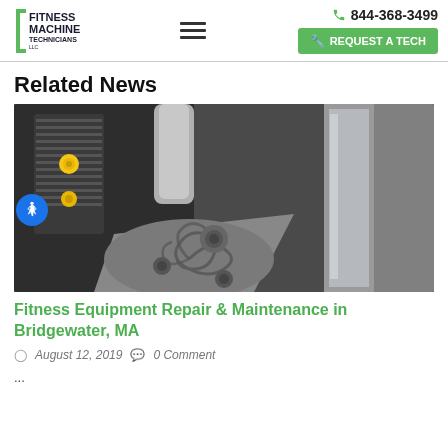Fitness Machine Technicians | 844-368-3499 | REQUEST A TECH
Related News
[Figure (photo): Close-up photograph of fitness equipment pulley/cable assembly mechanism with decorative swirl-pattern weight stack selector, gray metal arm, and dark background.]
Fitness Equipment Repair & Maintenance in Bridgewater, MA
August 12, 2019   0 Comment
...